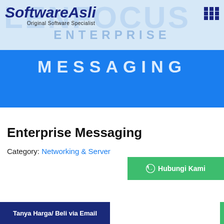[Figure (logo): SoftwareAsli logo with italic bold dark blue text and subtitle 'Original Software Specialist']
[Figure (screenshot): Blue banner with 'MESSAGING' text and background 'ENTERPRISE' watermark text on light blue header]
Enterprise Messaging
Category: Networking & Server
Hubungi Kami
Tanya Harga/ Beli via Email
Tanya/Beli via WA